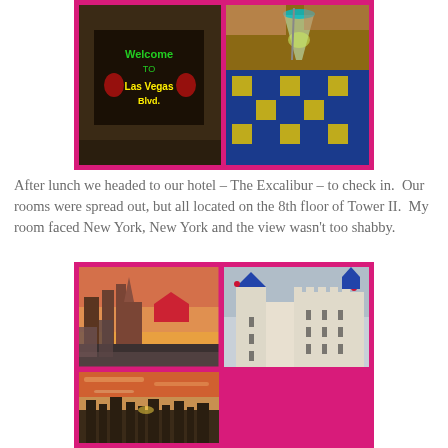[Figure (photo): Top collage with pink border: left side shows a Welcome to Las Vegas Blvd sign, right side shows a margarita cocktail on a colorful tiled table]
After lunch we headed to our hotel – The Excalibur – to check in.  Our rooms were spread out, but all located on the 8th floor of Tower II.  My room faced New York, New York and the view wasn't too shabby.
[Figure (photo): Bottom collage with pink border: top-left shows New York New York hotel at sunset with city skyline, top-right shows Excalibur hotel castle tower, bottom-left shows a sunset cityscape view]